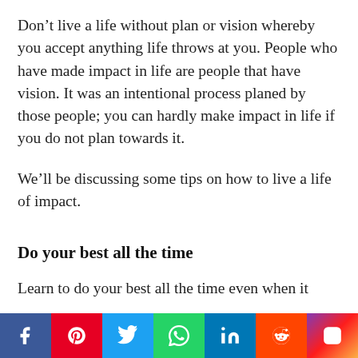Don’t live a life without plan or vision whereby you accept anything life throws at you. People who have made impact in life are people that have vision. It was an intentional process planed by those people; you can hardly make impact in life if you do not plan towards it.
We’ll be discussing some tips on how to live a life of impact.
Do your best all the time
Learn to do your best all the time even when it
[Figure (infographic): Social media share bar with icons: Facebook (blue), Pinterest (red), Twitter (light blue), WhatsApp (green), LinkedIn (dark blue), Reddit (orange), Instagram (gradient purple-red-orange)]